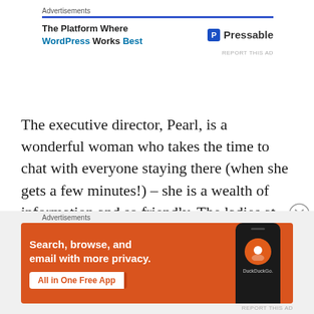[Figure (infographic): Top advertisement banner for Pressable: 'The Platform Where WordPress Works Best' with blue underline and Pressable logo]
The executive director, Pearl, is a wonderful woman who takes the time to chat with everyone staying there (when she gets a few minutes!) – she is a wealth of information and so friendly.  The ladies at the front desk with helpful information about the walk safe program through the Hamilton Health Services and so many other things I
[Figure (infographic): Bottom advertisement for DuckDuckGo: 'Search, browse, and email with more privacy. All in One Free App' on orange background with phone graphic and DuckDuckGo logo]